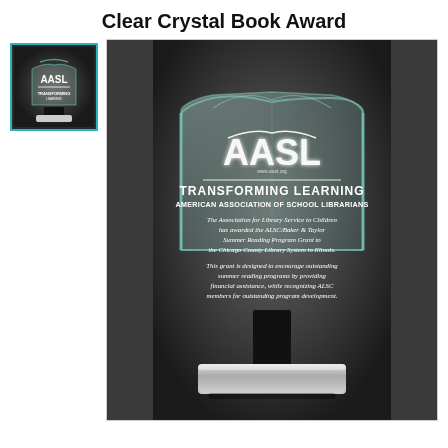Clear Crystal Book Award
[Figure (photo): Small thumbnail image of the Clear Crystal Book Award showing a transparent crystal book-shaped plaque with AASL logo and text, mounted on a black and clear crystal base.]
[Figure (photo): Large main product photo of the Clear Crystal Book Award. The award is a transparent glass/crystal piece shaped like an open book with a wave at the top. It features the AASL logo with 'TRANSFORMING LEARNING' and 'AMERICAN ASSOCIATION OF SCHOOL LIBRARIANS' engraved, along with body text reading: 'The Association for Library Service to Children has awarded the ALSC/Baker & Taylor Summer Reading Program Grant to the Chicago County Library System in Illinois. This grant is designed to encourage outstanding summer reading programs by providing financial assistance, while recognizing ALSC members for outstanding program development.' The award sits on a black pedestal and clear rectangular crystal base, displayed on a dark gray gradient background.]